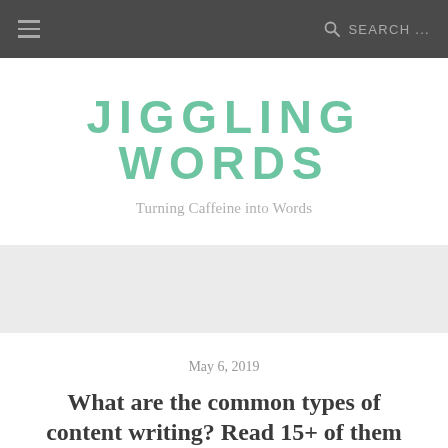≡  SEARCH...
JIGGLING WORDS
Turning Caffeine into Words
May 6, 2019
What are the common types of content writing? Read 15+ of them here